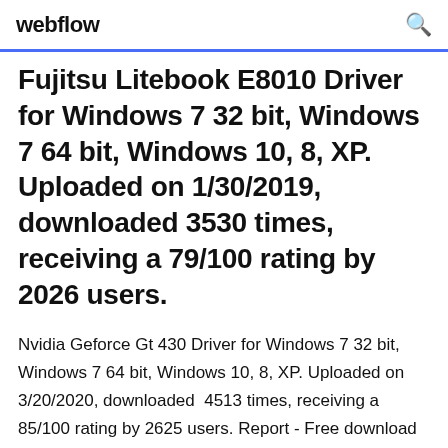webflow
Fujitsu Litebook E8010 Driver for Windows 7 32 bit, Windows 7 64 bit, Windows 10, 8, XP. Uploaded on 1/30/2019, downloaded 3530 times, receiving a 79/100 rating by 2026 users.
Nvidia Geforce Gt 430 Driver for Windows 7 32 bit, Windows 7 64 bit, Windows 10, 8, XP. Uploaded on 3/20/2020, downloaded 4513 times, receiving a 85/100 rating by 2625 users. Report - Free download as Text File (.txt), PDF File (.pdf) or read online for free. This implementation of PureVideo HD, VP4 added hardware to offload MPEG-4 Advanced Simple